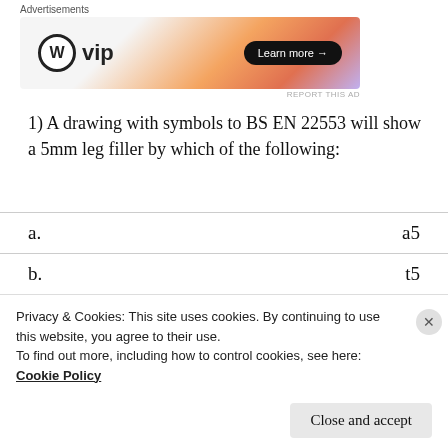[Figure (screenshot): WordPress VIP advertisement banner with orange/purple gradient and 'Learn more' button]
1) A drawing with symbols to BS EN 22553 will show a 5mm leg filler by which of the following:
| Option | Value |
| --- | --- |
| a. | a5 |
| b. | t5 |
| c.  (answer ) | z5 |
| d. | 5Z |
Privacy & Cookies: This site uses cookies. By continuing to use this website, you agree to their use.
To find out more, including how to control cookies, see here: Cookie Policy
Close and accept